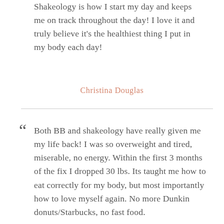Shakeology is how I start my day and keeps me on track throughout the day! I love it and truly believe it’s the healthiest thing I put in my body each day!
Christina Douglas
“Both BB and shakeology have really given me my life back! I was so overweight and tired, miserable, no energy. Within the first 3 months of the fix I dropped 30 lbs. Its taught me how to eat correctly for my body, but most importantly how to love myself again. No more Dunkin donuts/Starbucks, no fast food.